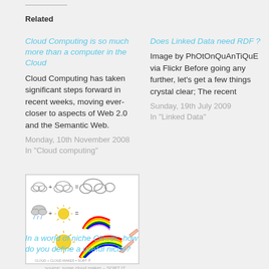Related
Cloud Computing is so much more than a computer in the Cloud
Cloud Computing has taken significant steps forward in recent weeks, moving ever-closer to aspects of Web 2.0 and the Semantic Web.
Monday, 10th November 2008
In "Cloud computing"
Does Linked Data need RDF ?
Image by PhOtOnQuAnTiQuE via Flickr Before going any further, let's get a few things crystal clear; The recent
Sunday, 19th July 2009
In "Linked Data"
[Figure (illustration): Cartoon/comic style image showing clouds, sun, and rainbow with simple hand-drawn figures illustrating cloud computing concepts]
In a world of niche Clouds, how do you define a useful niche?